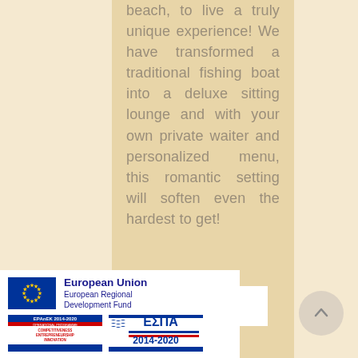beach, to live a truly unique experience! We have transformed a traditional fishing boat into a deluxe sitting lounge and with your own private waiter and personalized menu, this romantic setting will soften even the hardest to get!
Book now
[Figure (logo): European Union European Regional Development Fund logo with EU flag (blue with yellow stars), EPAnEK 2014-2020 Operational Programme Competitiveness Entrepreneurship Innovation badge, and ESPA 2014-2020 badge]